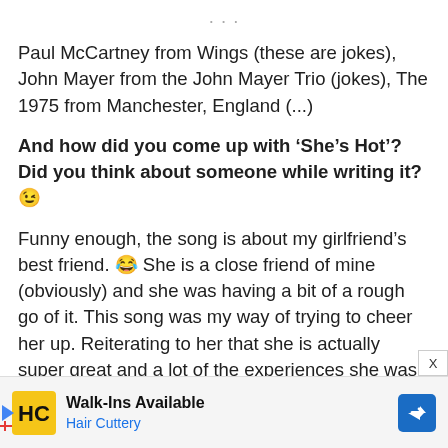Paul McCartney from Wings (these are jokes), John Mayer from the John Mayer Trio (jokes), The 1975 from Manchester, England (...)
And how did you come up with ‘She’s Hot’? Did you think about someone while writing it? 😉
Funny enough, the song is about my girlfriend’s best friend. 😂 She is a close friend of mine (obviously) and she was having a bit of a rough go of it. This song was my way of trying to cheer her up. Reiterating to her that she is actually super great and a lot of the experiences she was going through at the time weren’t a reflection o
[Figure (other): Advertisement banner for Hair Cuttery: Walk-Ins Available, with Hair Cuttery logo and navigation arrow icon]